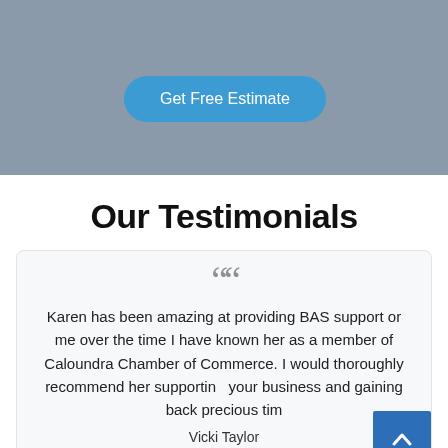[Figure (other): Blue rounded button labeled 'Get Free Estimate' on a grey background]
Our Testimonials
Karen has been amazing at providing BAS support or me over the time I have known her as a member of Caloundra Chamber of Commerce. I would thoroughly recommend her supporting your business and gaining back precious tim
Vicki Taylor